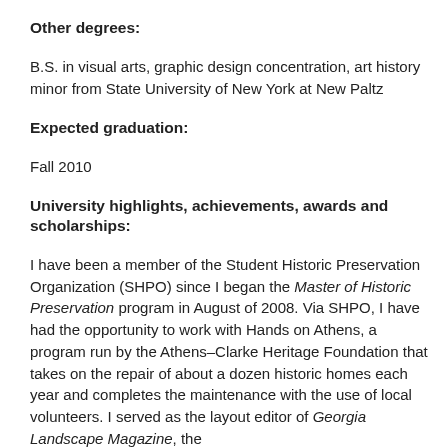Other degrees:
B.S. in visual arts, graphic design concentration, art history minor from State University of New York at New Paltz
Expected graduation:
Fall 2010
University highlights, achievements, awards and scholarships:
I have been a member of the Student Historic Preservation Organization (SHPO) since I began the Master of Historic Preservation program in August of 2008. Via SHPO, I have had the opportunity to work with Hands on Athens, a program run by the Athens–Clarke Heritage Foundation that takes on the repair of about a dozen historic homes each year and completes the maintenance with the use of local volunteers. I served as the layout editor of Georgia Landscape Magazine, the